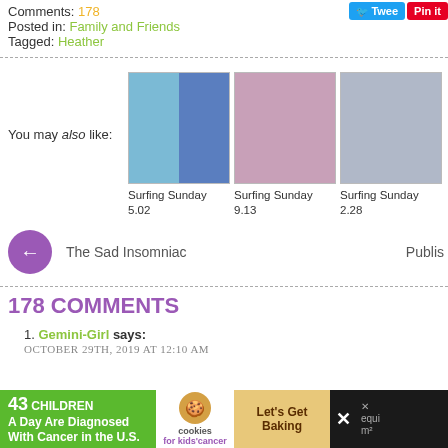Comments: 178
Posted in: Family and Friends
Tagged: Heather
[Figure (photo): Three thumbnail photos for related posts: 'Surfing Sunday 5.02', 'Surfing Sunday 9.13', 'Surfing Sunday 2.28']
You may also like:
Surfing Sunday 5.02
Surfing Sunday 9.13
Surfing Sunday 2.28
← The Sad Insomniac
Publis
178 COMMENTS
1. Gemini-Girl says: OCTOBER 29TH, 2019 AT 12:10 AM
[Figure (infographic): Ad banner: 43 Children A Day Are Diagnosed With Cancer in the U.S. — cookies for kids' cancer — Let's Get Baking]